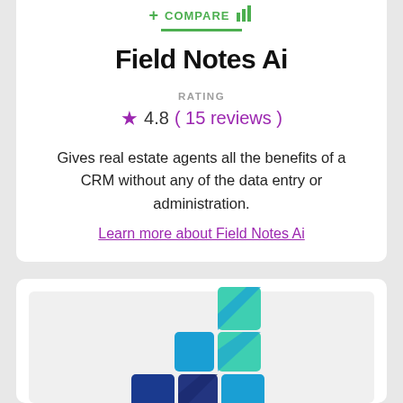+ COMPARE
Field Notes Ai
RATING
4.8 ( 15 reviews )
Gives real estate agents all the benefits of a CRM without any of the data entry or administration.
Learn more about Field Notes Ai
[Figure (logo): Field Notes Ai logo — stacked colored square tiles forming a bar-chart-like shape in teal, blue, and purple gradient]